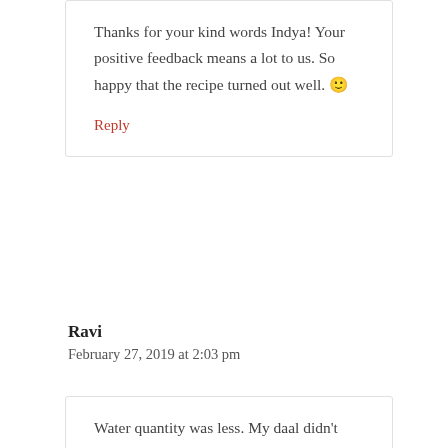Thanks for your kind words Indya! Your positive feedback means a lot to us. So happy that the recipe turned out well. 🙂
Reply
Ravi
February 27, 2019 at 2:03 pm
Water quantity was less. My daal didn't